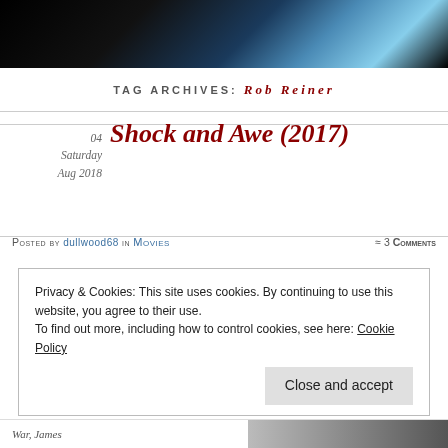[Figure (photo): Dark space/sci-fi themed header image with blue light streaks against black background]
TAG ARCHIVES: ROB REINER
04
Saturday
Aug 2018
Shock and Awe (2017)
Posted by dullwood68 in Movies ≈ 3 Comments
Privacy & Cookies: This site uses cookies. By continuing to use this website, you agree to their use.
To find out more, including how to control cookies, see here: Cookie Policy
Close and accept
War, James